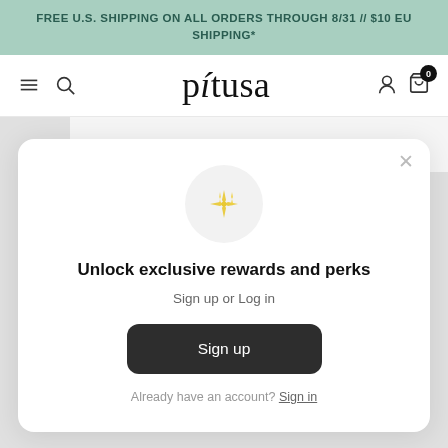FREE U.S. SHIPPING ON ALL ORDERS THROUGH 8/31 // $10 EU SHIPPING*
[Figure (screenshot): Website navigation bar with hamburger menu, search icon, pitusa logo, user account icon, and shopping bag icon with 0 badge]
[Figure (screenshot): Modal dialog with sparkle icon, heading 'Unlock exclusive rewards and perks', 'Sign up or Log in' text, Sign up button, and 'Already have an account? Sign in' link]